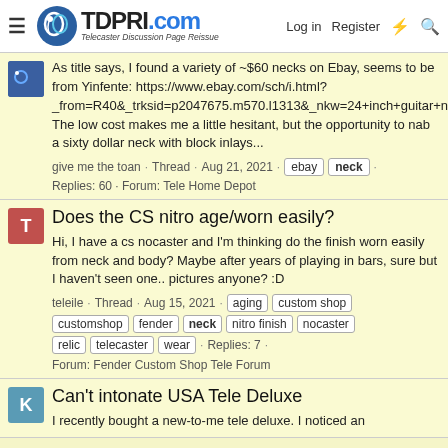TDPRI.com Telecaster Discussion Page Reissue | Log in | Register
As title says, I found a variety of ~$60 necks on Ebay, seems to be from Yinfente: https://www.ebay.com/sch/i.html?_from=R40&_trksid=p2047675.m570.l1313&_nkw=24+inch+guitar+neck&_sacat=0 The low cost makes me a little hesitant, but the opportunity to nab a sixty dollar neck with block inlays...
give me the toan · Thread · Aug 21, 2021 · ebay neck · Replies: 60 · Forum: Tele Home Depot
Does the CS nitro age/worn easily?
Hi, I have a cs nocaster and I'm thinking do the finish worn easily from neck and body? Maybe after years of playing in bars, sure but I haven't seen one.. pictures anyone? :D
teleile · Thread · Aug 15, 2021 · aging custom shop customshop fender neck nitro finish nocaster relic telecaster wear · Replies: 7 · Forum: Fender Custom Shop Tele Forum
Can't intonate USA Tele Deluxe
I recently bought a new-to-me tele deluxe. I noticed an